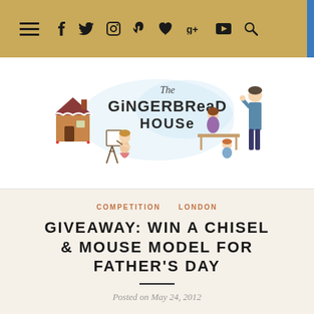Navigation bar with hamburger menu and social icons: f, twitter, instagram, pinterest, heart, g+, youtube, search
[Figure (logo): The Gingerbread House blog logo with illustrated characters: gingerbread house, children painting, family crafting, adult crafting, text 'The Gingerbread House']
COMPETITION  LONDON
GIVEAWAY: WIN A CHISEL & MOUSE MODEL FOR FATHER'S DAY
Posted on May 24, 2012
Are you looking for the perfect gift for